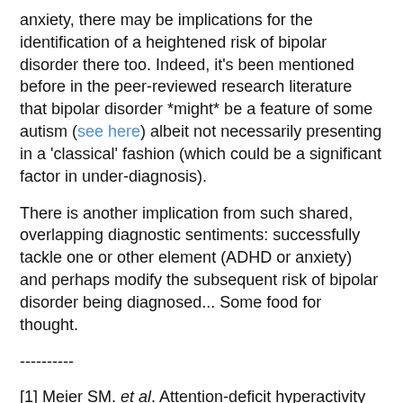anxiety, there may be implications for the identification of a heightened risk of bipolar disorder there too. Indeed, it's been mentioned before in the peer-reviewed research literature that bipolar disorder *might* be a feature of some autism (see here) albeit not necessarily presenting in a 'classical' fashion (which could be a significant factor in under-diagnosis).
There is another implication from such shared, overlapping diagnostic sentiments: successfully tackle one or other element (ADHD or anxiety) and perhaps modify the subsequent risk of bipolar disorder being diagnosed... Some food for thought.
----------
[1] Meier SM. et al. Attention-deficit hyperactivity disorder and anxiety disorders as precursors of bipolar disorder onset in adulthood. Br J Psychiatry. 2018 Jun 21:1-6.
[2] Novick DM. et al. Suicide attempts in bipolar I and bipolar II disorder: a review and meta-analysis of the evidence.